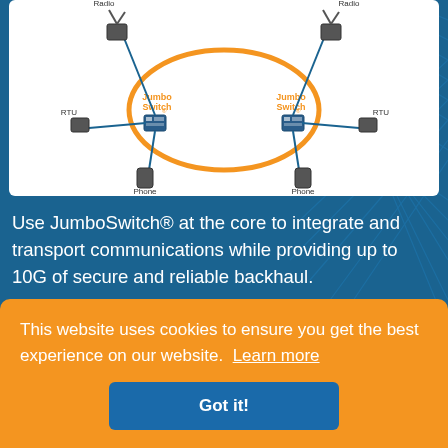[Figure (network-graph): Network diagram showing JumboSwitch devices connected in a ring topology with Radio, RTU, and Phone endpoints on both sides, connected via an orange ring through two JumboSwitch nodes.]
Use JumboSwitch® at the core to integrate and transport communications while providing up to 10G of secure and reliable backhaul.
See Our Solutions
This website uses cookies to ensure you get the best experience on our website. Learn more
Got it!